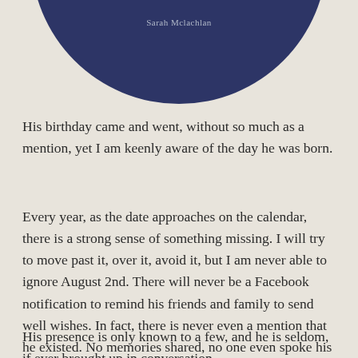[Figure (illustration): Dark navy blue semicircle at top of page with text 'Sarah Mclachlan' in light gray centered within it]
His birthday came and went, without so much as a mention, yet I am keenly aware of the day he was born.
Every year, as the date approaches on the calendar, there is a strong sense of something missing. I will try to move past it, over it, avoid it, but I am never able to ignore August 2nd. There will never be a Facebook notification to remind his friends and family to send well wishes. In fact, there is never even a mention that he existed. No memories shared, no one even spoke his name.
His presence is only known to a few, and he is seldom, if ever brought up in conversation.